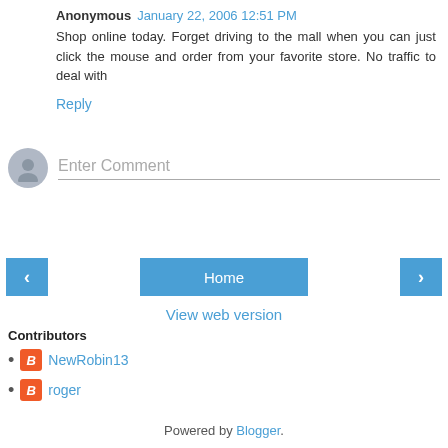Anonymous January 22, 2006 12:51 PM
Shop online today. Forget driving to the mall when you can just click the mouse and order from your favorite store. No traffic to deal with
Reply
[Figure (other): Comment input area with avatar placeholder and Enter Comment text field]
[Figure (other): Navigation buttons: left arrow, Home, right arrow]
View web version
Contributors
NewRobin13
roger
Powered by Blogger.